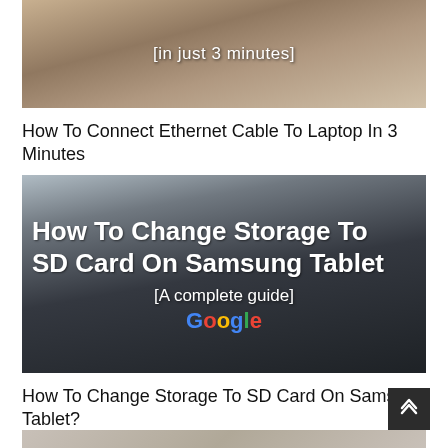[Figure (photo): Thumbnail image of ethernet cable connection article showing hands and cable with text '[in just 3 minutes]']
How To Connect Ethernet Cable To Laptop In 3 Minutes
[Figure (photo): Thumbnail image of Samsung tablet showing Google search page with bold text overlay 'How To Change Storage To SD Card On Samsung Tablet [A complete guide]']
How To Change Storage To SD Card On Samsung Tablet?
[Figure (photo): Partial thumbnail image at bottom of page]